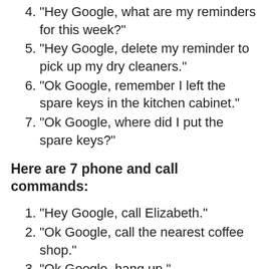4. “Hey Google, what are my reminders for this week?”
5. “Hey Google, delete my reminder to pick up my dry cleaners.”
6. “Ok Google, remember I left the spare keys in the kitchen cabinet.”
7. “Ok Google, where did I put the spare keys?”
Here are 7 phone and call commands:
1. “Hey Google, call Elizabeth.”
2. “Ok Google, call the nearest coffee shop.”
3. “Ok Google, hang up.”
4. “Ok Google, dial again.”
5. “Ok Google, Bluetooth pairing.”
6. “Hey Google, is my phone connected